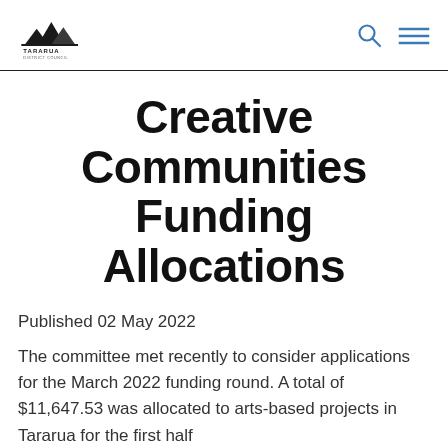Tararua District Council
Creative Communities Funding Allocations
Published 02 May 2022
The committee met recently to consider applications for the March 2022 funding round. A total of $11,647.53 was allocated to arts-based projects in Tararua for the first half